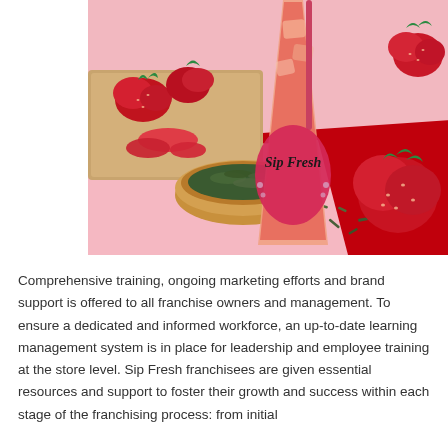[Figure (photo): A Sip Fresh branded cup filled with a red/orange iced tea drink, surrounded by fresh strawberries, a wooden bowl of loose green tea leaves, and scattered tea leaves on a red surface with a pink background.]
Comprehensive training, ongoing marketing efforts and brand support is offered to all franchise owners and management. To ensure a dedicated and informed workforce, an up-to-date learning management system is in place for leadership and employee training at the store level. Sip Fresh franchisees are given essential resources and support to foster their growth and success within each stage of the franchising process: from initial